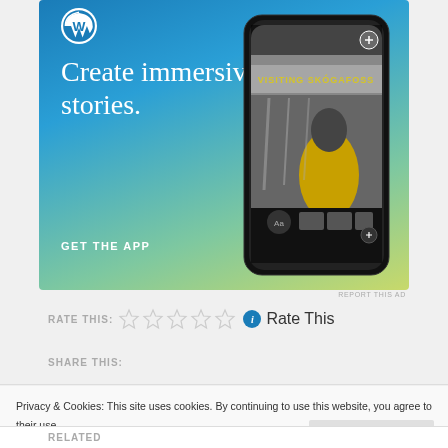[Figure (screenshot): WordPress app advertisement with blue-to-yellow gradient background, WordPress logo, text 'Create immersive stories.' and 'GET THE APP', and a phone mockup showing 'VISITING SKÓGAFOSS' story]
REPORT THIS AD
RATE THIS: ☆☆☆☆☆ ℹ Rate This
SHARE THIS:
Privacy & Cookies: This site uses cookies. By continuing to use this website, you agree to their use.
To find out more, including how to control cookies, see here: Cookie Policy
Close and accept
RELATED